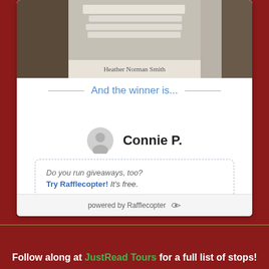[Figure (photo): Photo of a novel book by Heather Norman Smith, partially visible at top of white card widget]
And the winner is...
Connie P.
Do you run giveaways, too? Try Rafflecopter! It's free.
powered by Rafflecopter
Follow along at JustRead Tours for a full list of stops!